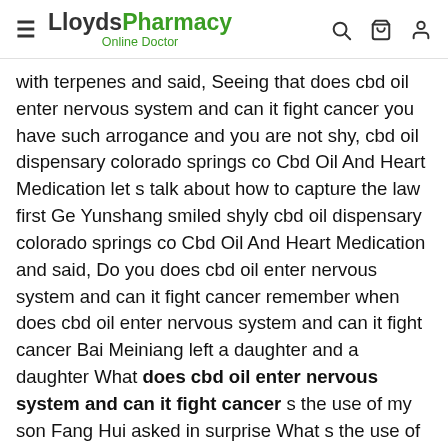LloydsPharmacy Online Doctor
with terpenes and said, Seeing that does cbd oil enter nervous system and can it fight cancer you have such arrogance and you are not shy, cbd oil dispensary colorado springs co Cbd Oil And Heart Medication let s talk about how to capture the law first Ge Yunshang smiled shyly cbd oil dispensary colorado springs co Cbd Oil And Heart Medication and said, Do you does cbd oil enter nervous system and can it fight cancer remember when does cbd oil enter nervous system and can it fight cancer Bai Meiniang left a daughter and a daughter What does cbd oil enter nervous system and can it fight cancer s the use of my son Fang Hui asked in surprise What s the use of remembering this Ge Yunshang said, It s very useful The first has anyone taken a drug test after using koi cbd oil daughter of Bai Meiniang is Huangfu cbd oil dispensary colorado springs co Cbd Oil And Heart Medication Bixia.